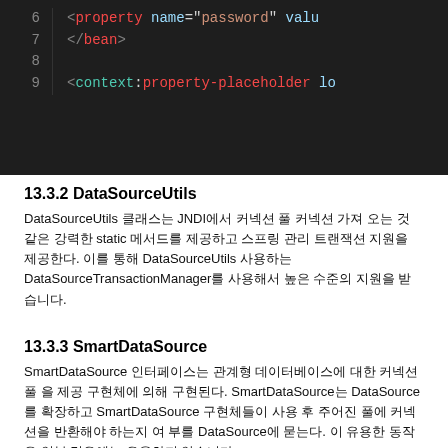[Figure (screenshot): Dark-themed code editor showing XML configuration with line numbers 6-9. Line 6: <property name="password" valu... Line 7: </bean> Line 8: (empty) Line 9: <context:property-placeholder lo...]
13.3.2 DataSourceUtils
DataSourceUtils 클래스는 JNDI에서 커넥션 풀 커넥션 가져 오는 것 같은 강력한 static 메서드를 제공하고 스프링 관리 트랜잭션 지원을 제공한다. 이를 통해 DataSourceUtils 사용하는 DataSourceTransactionManager를 사용해서 높은 수준의 지원을 받습니다.
13.3.3 SmartDataSource
SmartDataSource 인터페이스는 관계형 데이터베이스에 대한 커넥션 풀 을 제공 구현체에 의해 구현된다. 이 SmartDataSource는 DataSource를 확장하고 SmartDataSource 구현체들이 사용 후 주어진 풀에 커넥션을 반환해야 하는지 여 부를 DataSource에 묻는다. 이 유용한 동작은 일부 경우에는 유용하지 않습니다.